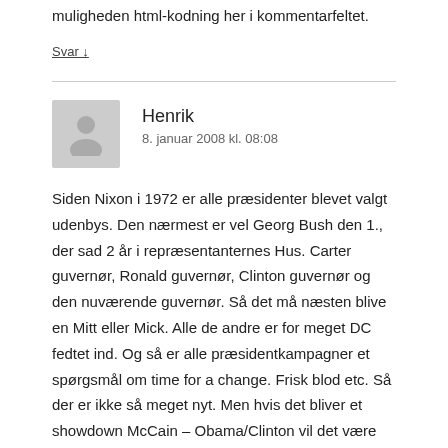muligheden html-kodning her i kommentarfeltet.
Svar ↓
Henrik
8. januar 2008 kl. 08:08
Siden Nixon i 1972 er alle præsidenter blevet valgt udenbys. Den nærmest er vel Georg Bush den 1., der sad 2 år i repræsentanternes Hus. Carter guvernør, Ronald guvernør, Clinton guvernør og den nuværende guvernør. Så det må næsten blive en Mitt eller Mick. Alle de andre er for meget DC fedtet ind. Og så er alle præsidentkampagner et spørgsmål om time for a change. Frisk blod etc. Så der er ikke så meget nyt. Men hvis det bliver et showdown McCain – Obama/Clinton vil det være første gang længe vi får en senator som præsident. Men skægt som de tipper frem og tilbage. Det er